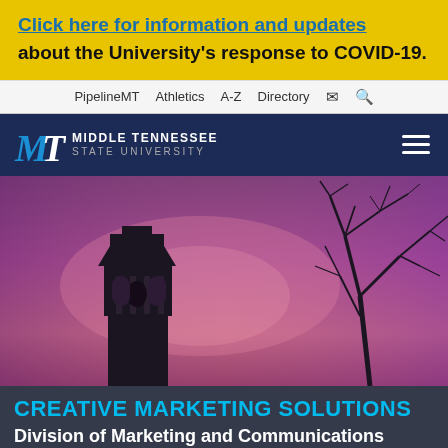Click here for information and updates about the University's response to COVID-19.
PipelineMT  Athletics  A-Z  Directory
[Figure (logo): MT Middle Tennessee State University logo in white/blue on dark navy background with hamburger menu icon]
[Figure (photo): Silhouette of a bell tower against a purple/pink twilight sky with bare tree branches]
CREATIVE MARKETING SOLUTIONS
Division of Marketing and Communications